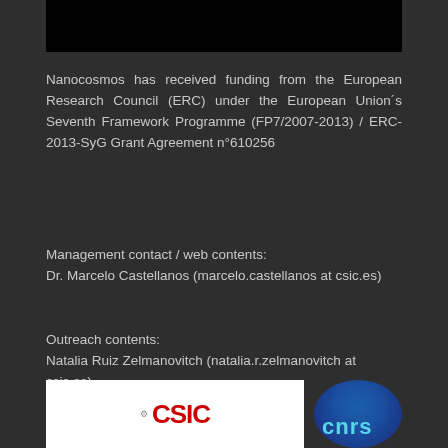[Figure (photo): Black bar/image at top of page]
Nanocosmos has received funding from the European Research Council (ERC) under the European Union´s Seventh Framework Programme (FP7/2007-2013) / ERC-2013-SyG Grant Agreement n°610256
Management contact / web contents:
Dr. Marcelo Castellanos (marcelo.castellanos at csic.es)
Outreach contents:
Natalia Ruiz Zelmanovitch (natalia.r.zelmanovitch at csic.es)
[Figure (logo): CSIC logo (left) and CNRS logo (right) at bottom of page]